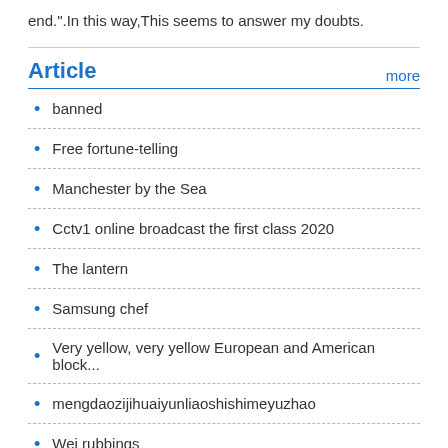end.".In this way,This seems to answer my doubts.
Article
banned
Free fortune-telling
Manchester by the Sea
Cctv1 online broadcast the first class 2020
The lantern
Samsung chef
Very yellow, very yellow European and American block...
mengdaozijihuaiyunliaoshishimeyuzhao
Wei rubbings
Eager to